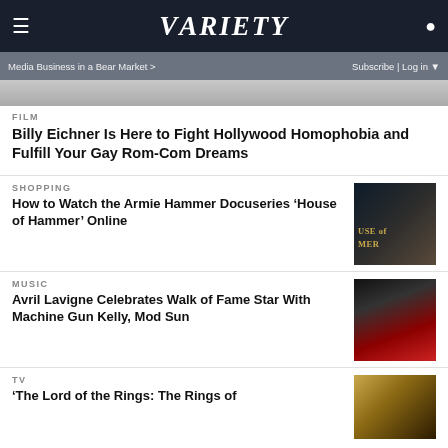VARIETY
Media Business in a Bear Market > | Subscribe | Log in
[Figure (photo): Partial image at top of page, cropped]
FILM
Billy Eichner Is Here to Fight Hollywood Homophobia and Fulfill Your Gay Rom-Com Dreams
SHOPPING
How to Watch the Armie Hammer Docuseries ‘House of Hammer’ Online
[Figure (photo): Thumbnail photo related to House of Hammer docuseries showing a man and text USE OF MER]
MUSIC
Avril Lavigne Celebrates Walk of Fame Star With Machine Gun Kelly, Mod Sun
[Figure (photo): Thumbnail photo of Avril Lavigne at Walk of Fame event]
TV
‘The Lord of the Rings: The Rings of